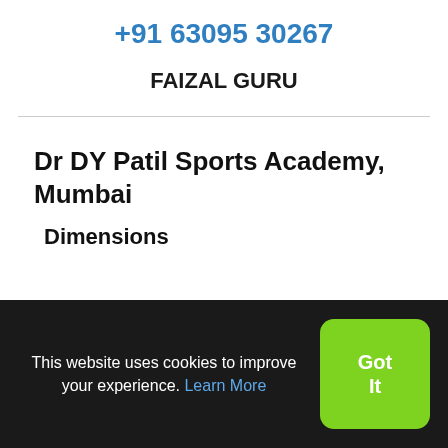+91 63095 30267
FAIZAL GURU
Dr DY Patil Sports Academy, Mumbai
Dimensions
This website uses cookies to improve your experience. Learn More
Got It